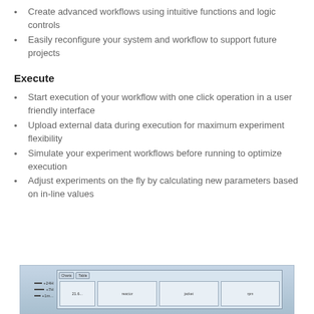Create advanced workflows using intuitive functions and logic controls
Easily reconfigure your system and workflow to support future projects
Execute
Start execution of your workflow with one click operation in a user friendly interface
Upload external data during execution for maximum experiment flexibility
Simulate your experiment workflows before running to optimize execution
Adjust experiments on the fly by calculating new parameters based on in-line values
[Figure (screenshot): Screenshot of a software interface showing a data table/chart view with tabs labeled 'Charts' and 'Table', with columns for reactor, jacket, and other parameters, and numeric values like +24H, +7H, 21.6.]